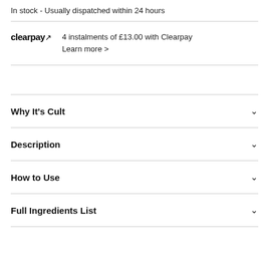In stock - Usually dispatched within 24 hours
clearpay  4 instalments of £13.00 with Clearpay
Learn more >
Why It's Cult
Description
How to Use
Full Ingredients List